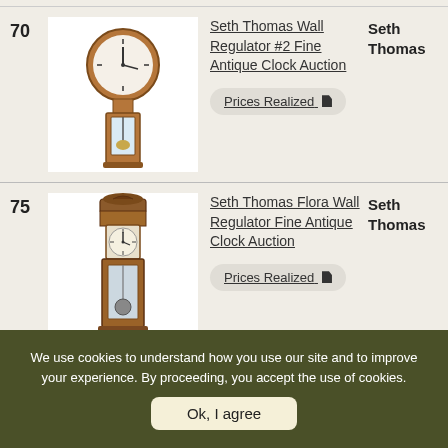70 Seth Thomas Wall Regulator #2 Fine Antique Clock Auction Seth Thomas Prices Realized
[Figure (photo): Antique Seth Thomas wall regulator clock #2 with round clock face, pendulum, and wooden case]
75 Seth Thomas Flora Wall Regulator Fine Antique Clock Auction Seth Thomas Prices Realized
[Figure (photo): Antique Seth Thomas Flora wall regulator clock with ornate wooden case, clock face, and visible pendulum]
We use cookies to understand how you use our site and to improve your experience. By proceeding, you accept the use of cookies.